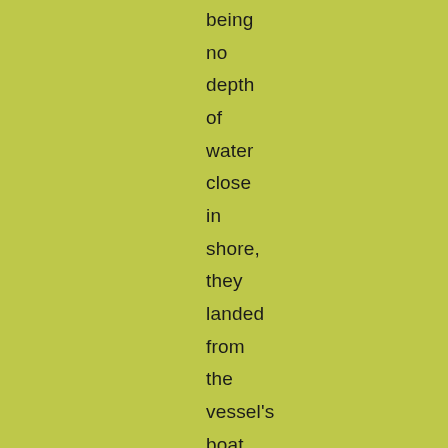being
no
depth
of
water
close
in
shore,
they
landed
from
the
vessel's
boat,
with
all
their
goods
beside